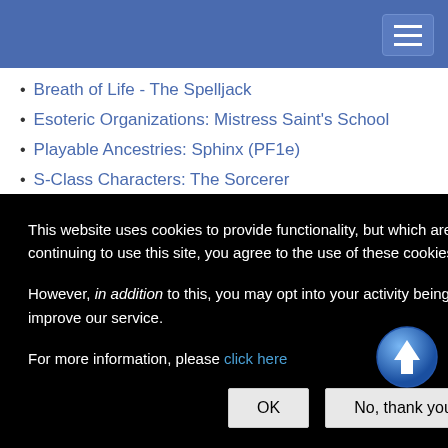Breath of Life - The Spelljack
Esoteric Organizations: Mistress Saint's School
Playable Ancestries: Sphinx (PF1e)
S-Class Characters: The Sorcerer
S-Class Characters: The Rogue
This website uses cookies to provide functionality, but which are not used to track your activity. By continuing to use this site, you agree to the use of these cookies.

However, in addition to this, you may opt into your activity being tracked in order to help us improve our service.

For more information, please click here
[Figure (other): Scroll to top button — blue circle with white upward arrow]